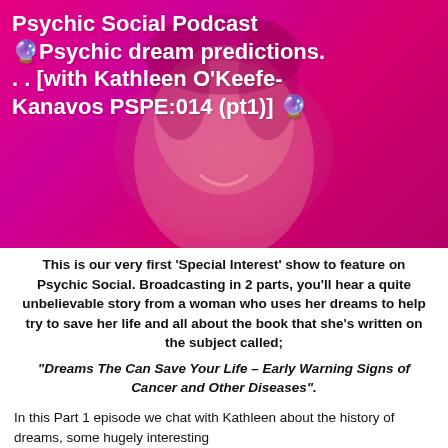[Figure (photo): Pink/magenta background podcast cover image with a woman's face visible, overlaid with white bold title text for Psychic Social Podcast episode]
Psychic Social Podcast 🔮Psychic dream predictions. . . [with Kathleen O'Keefe-Kanavos PSPE:014 (pt1)] 🔮
This is our very first 'Special Interest' show to feature on Psychic Social. Broadcasting in 2 parts, you'll hear a quite unbelievable story from a woman who uses her dreams to help try to save her life and all about the book that she's written on the subject called; "Dreams The Can Save Your Life – Early Warning Signs of Cancer and Other Diseases".
In this Part 1 episode we chat with Kathleen about the history of dreams, some hugely interesting